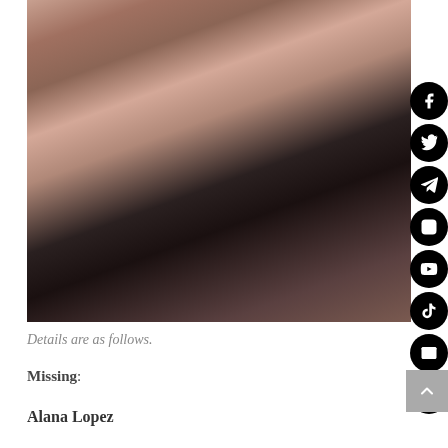[Figure (photo): A close-up photo of a young woman with curly dark hair and a man behind her. The woman is wearing a black top and making a hand gesture. Social media icons (Facebook, Twitter, Telegram, Instagram, YouTube, TikTok, Email, Phone) appear to the right side overlaying the image.]
Details are as follows.
Missing:
Alana Lopez